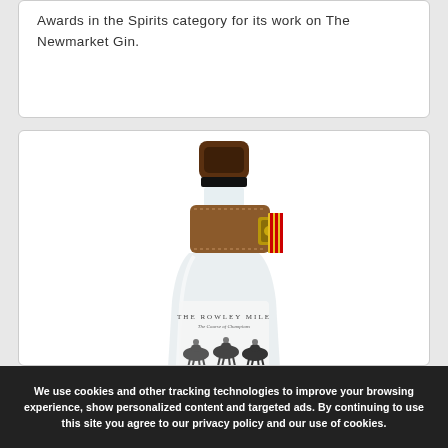Awards in the Spirits category for its work on The Newmarket Gin.
[Figure (photo): A bottle of The Newmarket Gin with a frosted white glass bottle, brown leather strap with gold buckle around the neck, decorative label showing racing horses and text 'The Rowley Mile - The Course of Champions', with large 'The NewMarket GIN' branding on the label.]
We use cookies and other tracking technologies to improve your browsing experience, show personalized content and targeted ads. By continuing to use this site you agree to our privacy policy and our use of cookies.